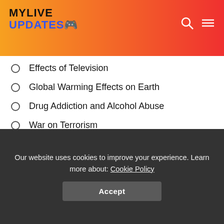MYLIVE UPDATES
Effects of Television
Global Warming Effects on Earth
Drug Addiction and Alcohol Abuse
War on Terrorism
Benefits of Reading
Depression in Teenagers
Impact of Fast Foods
How changed into the Universe Created?
Does God Exist?
Our website uses cookies to improve your experience. Learn more about: Cookie Policy